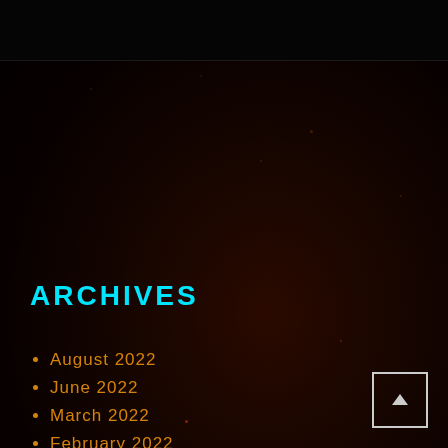ARCHIVES
August 2022
June 2022
March 2022
February 2022
January 2022
November 2021